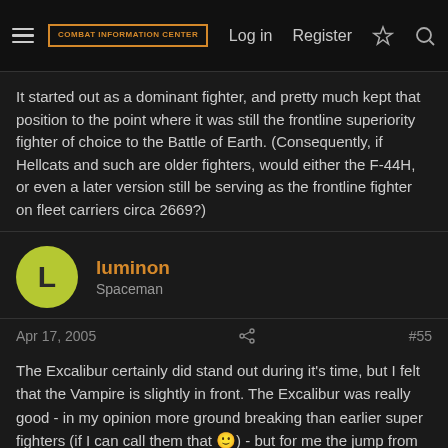COMBAT INFORMATION CENTER | Log in | Register
It started out as a dominant fighter, and pretty much kept that position to the point where it was still the frontline superiority fighter of choice to the Battle of Earth. (Consequently, if Hellcats and such are older fighters, would either the F-44H, or even a later version still be serving as the frontline fighter on fleet carriers circa 2669?)
luminon
Spaceman
Apr 17, 2005
#55
The Excalibur certainly did stand out during it's time, but I felt that the Vampire is slightly in front. The Excalibur was really good - in my opinion more ground breaking than earlier super fighters (if I can call them that 🙂) - but for me the jump from the Panther to the Vampire was greater than say... the thunderbolt to the excalibur. During my first mission with the